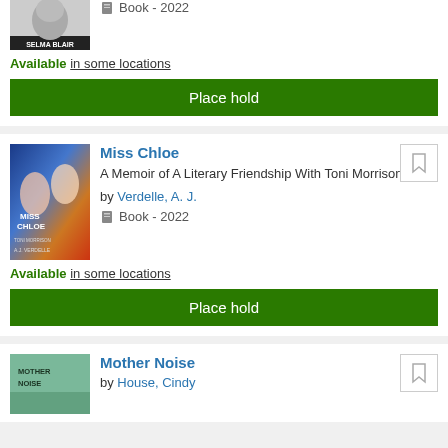[Figure (photo): Book cover for Selma Blair book, black and white photo, text SELMA BLAIR at bottom]
Book - 2022
Available in some locations
Place hold
[Figure (photo): Book cover for Miss Chloe, colorful abstract painting with figures, text MISS CHLOE and A.J. VERDELLE]
Miss Chloe
A Memoir of A Literary Friendship With Toni Morrison
by Verdelle, A. J.
Book - 2022
Available in some locations
Place hold
[Figure (photo): Book cover for Mother Noise, teal/green tones, text MOTHER NOISE]
Mother Noise
by House, Cindy